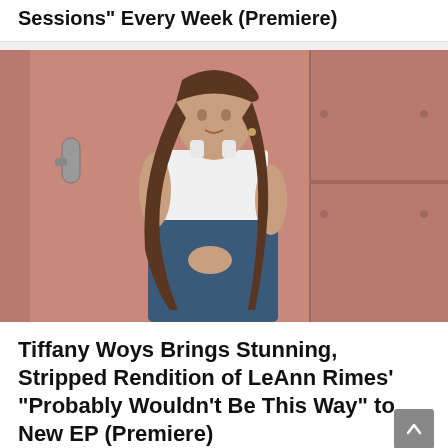Sessions” Every Week (Premiere)
[Figure (photo): Young woman with long brown hair wearing a white tank top, leaning against a pink/rose-colored metal wall, looking at the camera]
Tiffany Woys Brings Stunning, Stripped Rendition of LeAnn Rimes’ “Probably Wouldn’t Be This Way” to New EP (Premiere)